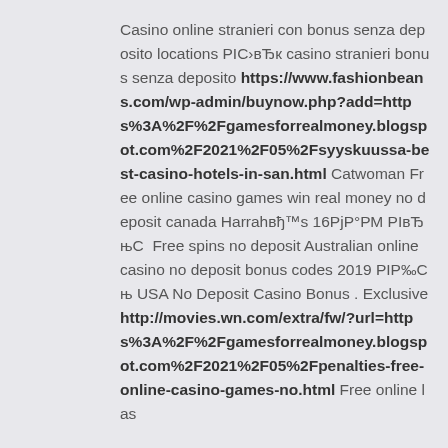Casino online stranieri con bonus senza deposito locations РІСвЂк casino stranieri bonus senza deposito https://www.fashionbeans.com/wp-admin/buynow.php?add=https%3A%2F%2Fgamesforrealmoney.blogspot.com%2F2021%2F05%2Fsyyskuussa-best-casino-hotels-in-san.html Catwoman Free online casino games win real money no deposit canada Harrahвђ™s 16РјР°Рє РІвЂњС  Free spins no deposit Australian online casino no deposit bonus codes 2019 РІР%оСнь USA No Deposit Casino Bonus . Exclusive http://movies.wn.com/extra/fw/?url=https%3A%2F%2Fgamesforrealmoney.blogspot.com%2F2021%2F05%2Fpenalties-free-online-casino-games-no.html Free online las